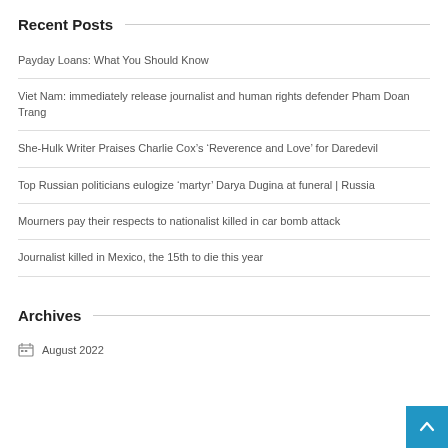Recent Posts
Payday Loans: What You Should Know
Viet Nam: immediately release journalist and human rights defender Pham Doan Trang
She-Hulk Writer Praises Charlie Cox’s ‘Reverence and Love’ for Daredevil
Top Russian politicians eulogize ‘martyr’ Darya Dugina at funeral | Russia
Mourners pay their respects to nationalist killed in car bomb attack
Journalist killed in Mexico, the 15th to die this year
Archives
August 2022